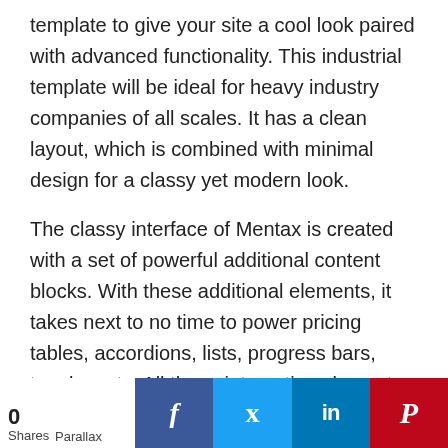template to give your site a cool look paired with advanced functionality. This industrial template will be ideal for heavy industry companies of all scales. It has a clean layout, which is combined with minimal design for a classy yet modern look.
The classy interface of Mentax is created with a set of powerful additional content blocks. With these additional elements, it takes next to no time to power pricing tables, accordions, lists, progress bars, toggles, etc. All these interactive elements do not only look professional but are also animated for higher user engagement. Moreover, the impact of your website's imagery is enhanced with
0 Share  Parallax  f  t  in  p